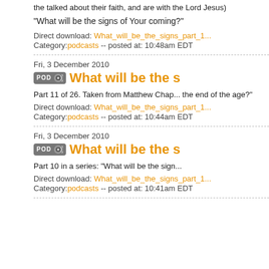the talked about their faith, and are with the Lord Jesus)
"What will be the signs of Your coming?"
Direct download: What_will_be_the_signs_part_1... Category:podcasts -- posted at: 10:48am EDT
Fri, 3 December 2010
What will be the s
Part 11 of 26. Taken from Matthew Chap... the end of the age?"
Direct download: What_will_be_the_signs_part_1... Category:podcasts -- posted at: 10:44am EDT
Fri, 3 December 2010
What will be the s
Part 10 in a series: "What will be the sign...
Direct download: What_will_be_the_signs_part_1... Category:podcasts -- posted at: 10:41am EDT